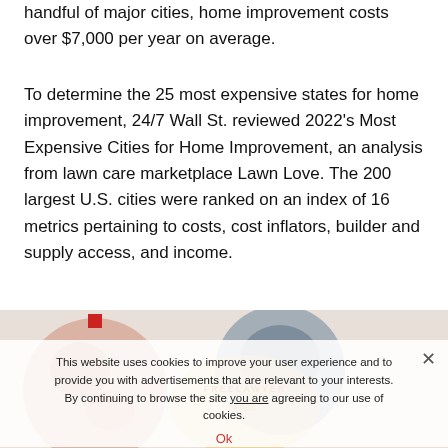handful of major cities, home improvement costs over $7,000 per year on average.
To determine the 25 most expensive states for home improvement, 24/7 Wall St. reviewed 2022's Most Expensive Cities for Home Improvement, an analysis from lawn care marketplace Lawn Love. The 200 largest U.S. cities were ranked on an index of 16 metrics pertaining to costs, cost inflators, builder and supply access, and income.
[Figure (photo): Partially visible photo images below the text, overlaid by a cookie consent banner.]
This website uses cookies to improve your user experience and to provide you with advertisements that are relevant to your interests. By continuing to browse the site you are agreeing to our use of cookies.
Ok